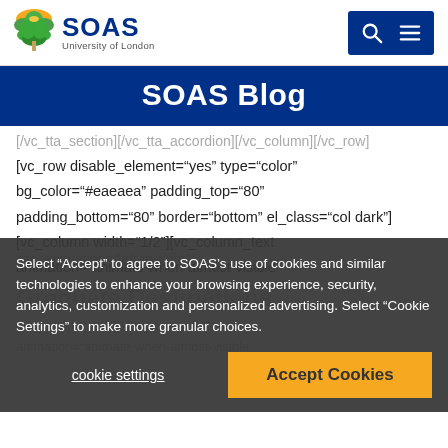[Figure (logo): SOAS University of London logo with tree icon in top navigation bar]
SOAS Blog
[/vc_tta_section][/vc_tta_accordion][/vc_column][/vc_row]
[vc_row disable_element="yes" type="color" bg_color="#eaeaea" padding_top="80" padding_bottom="80" border="bottom" el_class="col dark"][vc_column width="1/2"][vc_column_text animation="animate-when-almost-visible"
css_animation="left-to-right"
Graduate Destinations
[/vc_column_text][kleo_gap ... es"
animation="animate-when-almost-visible
Select "Accept" to agree to SOAS's use of cookies and similar technologies to enhance your browsing experience, security, analytics, customization and personalized advertising. Select "Cookie Settings" to make more granular choices.
cookie settings
Accept Cookies